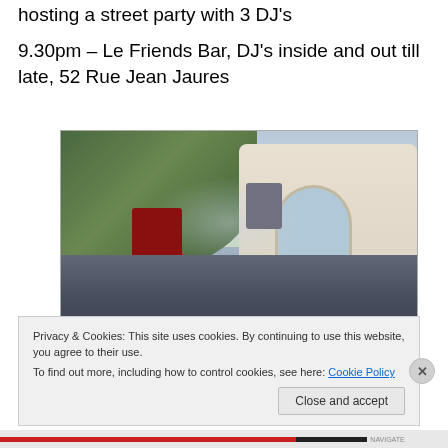hosting a street party with 3 DJ's
9.30pm – Le Friends Bar, DJ's inside and out till late, 52 Rue Jean Jaures
[Figure (photo): Outdoor party or festival scene in front of a white ornate building with arched windows. Crowd of people, red speaker stack, red tent, spotlight rig, smoky atmosphere, trees in background.]
Privacy & Cookies: This site uses cookies. By continuing to use this website, you agree to their use.
To find out more, including how to control cookies, see here: Cookie Policy
Close and accept